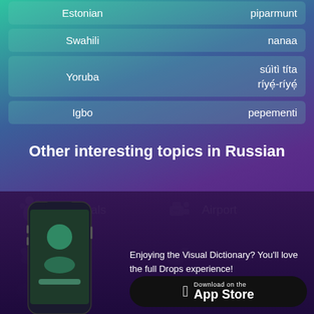| Language | Translation |
| --- | --- |
| Estonian | piparmunt |
| Swahili | nanaa |
| Yoruba | súìtì títa ríyẹ́-ríyẹ́ |
| Igbo | pepementi |
Other interesting topics in Russian
Essentials
Airport
Drinks
Food
[Figure (screenshot): Phone mockup showing Drops language learning app]
Enjoying the Visual Dictionary? You'll love the full Drops experience!
[Figure (logo): Download on the App Store button]